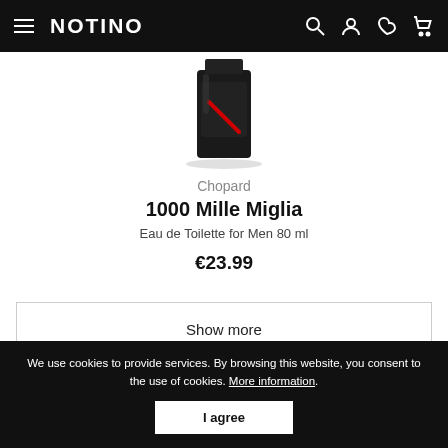NOTINO
[Figure (photo): Chopard 1000 Mille Miglia Eau de Toilette bottle in dark/black color with red accent]
Chopard
1000 Mille Miglia
Eau de Toilette for Men 80 ml
€23.99
Show more
We use cookies to provide services. By browsing this website, you consent to the use of cookies. More information.
I agree